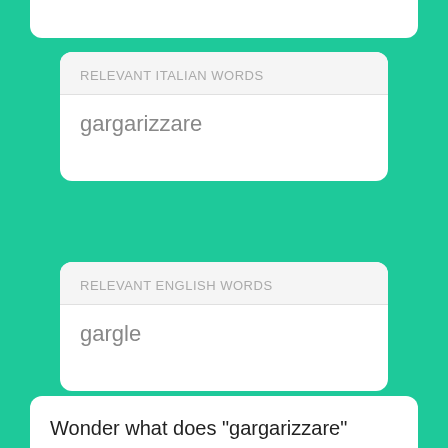RELEVANT ITALIAN WORDS
gargarizzare
RELEVANT ENGLISH WORDS
gargle
Wonder what does "gargarizzare" mean no more. Use Mate's web translator to take a peek at our